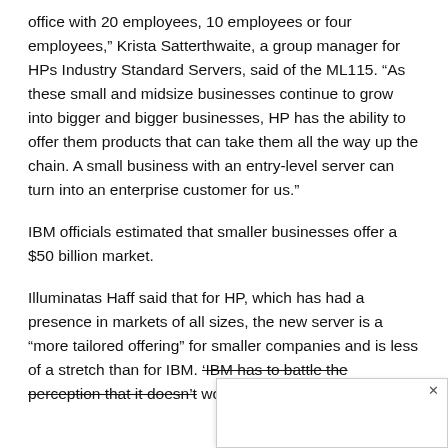office with 20 employees, 10 employees or four employees," Krista Satterthwaite, a group manager for HPs Industry Standard Servers, said of the ML115. "As these small and midsize businesses continue to grow into bigger and bigger businesses, HP has the ability to offer them products that can take them all the way up the chain. A small business with an entry-level server can turn into an enterprise customer for us."
IBM officials estimated that smaller businesses offer a $50 billion market.
Illuminatas Haff said that for HP, which has had a presence in markets of all sizes, the new server is a “more tailored offering” for smaller companies and is less of a stretch than for IBM. ‘IBM has to battle the perception that it doesn’t work with sm